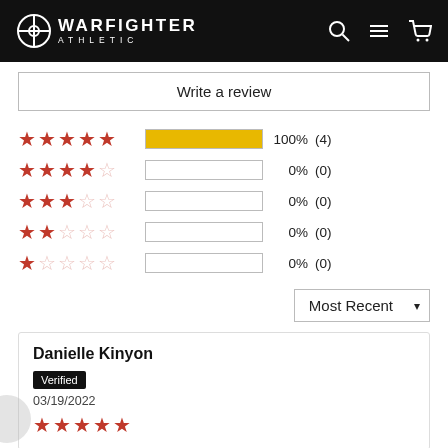Warfighter Athletic
Write a review
[Figure (infographic): Star rating breakdown: 5 stars 100% (4), 4 stars 0% (0), 3 stars 0% (0), 2 stars 0% (0), 1 star 0% (0)]
Most Recent (dropdown)
Danielle Kinyon
Verified
03/19/2022
5 stars